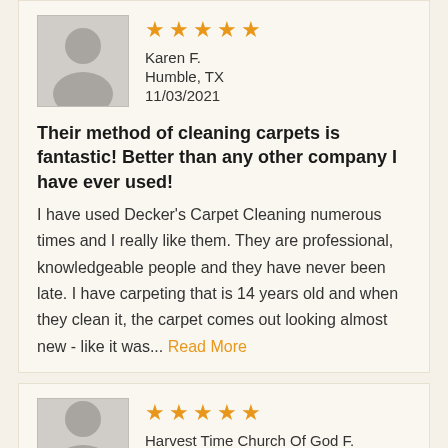[Figure (other): User avatar silhouette placeholder image - gray person icon]
★★★★★
Karen F.
Humble, TX
11/03/2021
Their method of cleaning carpets is fantastic! Better than any other company I have ever used!
I have used Decker's Carpet Cleaning numerous times and I really like them. They are professional, knowledgeable people and they have never been late. I have carpeting that is 14 years old and when they clean it, the carpet comes out looking almost new - like it was... Read More
[Figure (other): User avatar silhouette placeholder image - gray person icon]
★★★★★
Harvest Time Church Of God F.
Crosby, TX